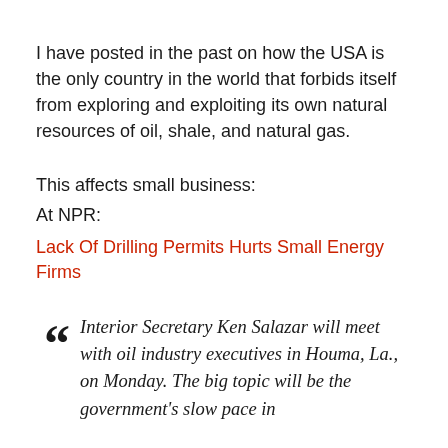I have posted in the past on how the USA is the only country in the world that forbids itself from exploring and exploiting its own natural resources of oil, shale, and natural gas.
This affects small business:
At NPR:
Lack Of Drilling Permits Hurts Small Energy Firms
Interior Secretary Ken Salazar will meet with oil industry executives in Houma, La., on Monday. The big topic will be the government's slow pace in